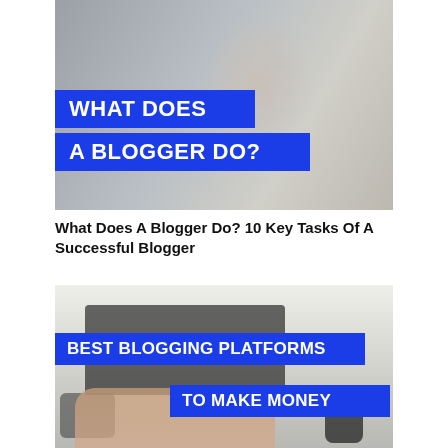[Figure (photo): Photo of a woman with curly hair smiling and working on a laptop, with blue overlay banners reading WHAT DOES A BLOGGER DO?]
What Does A Blogger Do? 10 Key Tasks Of A Successful Blogger
[Figure (photo): Flat-lay photo of hands typing on a laptop keyboard with a camera and coffee cup nearby, with blue overlay banners reading BEST BLOGGING PLATFORMS TO MAKE MONEY]